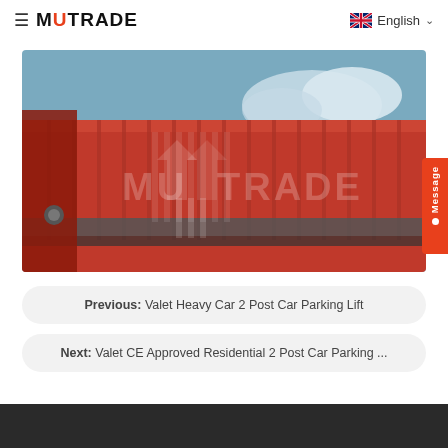≡ MUTRADE   English ∨
[Figure (photo): Close-up photo of a red shipping container with MUTRADE watermark logo overlay and vertical striped graphic pattern. Blue sky visible in background.]
Previous:  Valet Heavy Car 2 Post Car Parking Lift
Next:  Valet CE Approved Residential 2 Post Car Parking ...